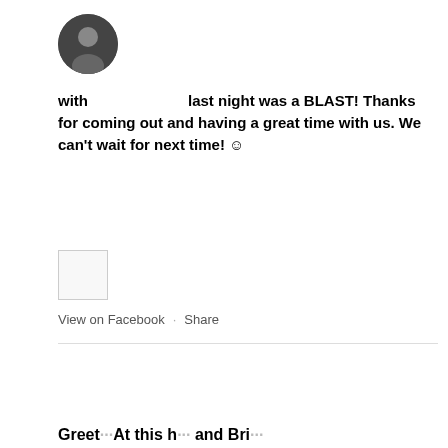[Figure (photo): Circular avatar photo of a person, dark/moody tone]
with last night was a BLAST! Thanks for coming out and having a great time with us. We can't wait for next time! ☺
[Figure (photo): Small thumbnail image, mostly white/light]
View on Facebook · Share
Greet...At this h... and Bri...